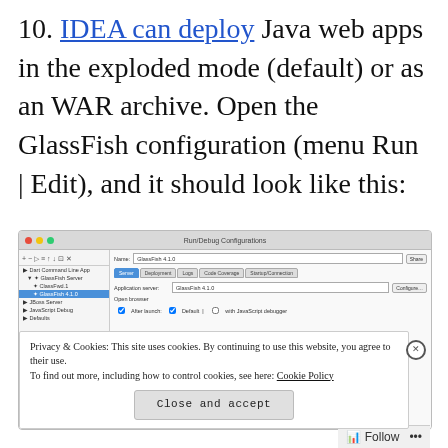10. IDEA can deploy Java web apps in the exploded mode (default) or as an WAR archive. Open the GlassFish configuration (menu Run | Edit), and it should look like this:
[Figure (screenshot): IntelliJ IDEA Run/Debug Configurations dialog showing GlassFish 4.1.0 server configuration, with a cookie consent banner overlay showing 'Privacy & Cookies' notice and a 'Close and accept' button, plus a Follow bar at the bottom right.]